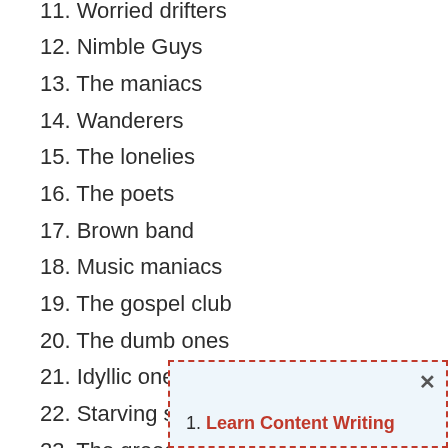11. Worried drifters
12. Nimble Guys
13. The maniacs
14. Wanderers
15. The lonelies
16. The poets
17. Brown band
18. Music maniacs
19. The gospel club
20. The dumb ones
21. Idyllic ones
22. Starving stars
23. The greedy ones
24. Big group
25. Co...
26. Me...
27. ...
1. Learn Content Writing